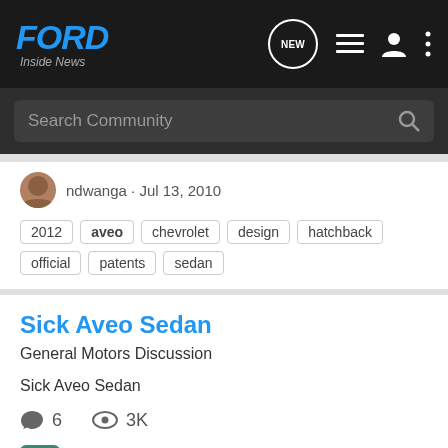[Figure (logo): FORD Inside News logo in blue italic bold text on dark background]
Ford Inside News - Navigation bar with NEW, list, user, and menu icons
Search Community
ndwanga · Jul 13, 2010
2012  aveo  chevrolet  design  hatchback  official  patents  sedan
Sick Aveo Sedan
General Motors Discussion
Sick Aveo Sedan
6  3K
Volvo_S70 · Feb 23, 2010
aveo  sedan  sick
Aveo RS